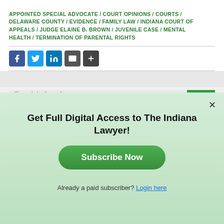APPOINTED SPECIAL ADVOCATE / COURT OPINIONS / COURTS / DELAWARE COUNTY / EVIDENCE / FAMILY LAW / INDIANA COURT OF APPEALS / JUDGE ELAINE B. BROWN / JUVENILE CASE / MENTAL HEALTH / TERMINATION OF PARENTAL RIGHTS
[Figure (screenshot): Social media sharing icons: Facebook (blue), Twitter (blue), LinkedIn (blue), Email (gray), More/Plus (dark gray)]
[Figure (screenshot): Search bar with placeholder 'Search Indiana Lawyer' and green GO button]
Get Full Digital Access to The Indiana Lawyer!
Subscribe Now
Already a paid subscriber? Login here